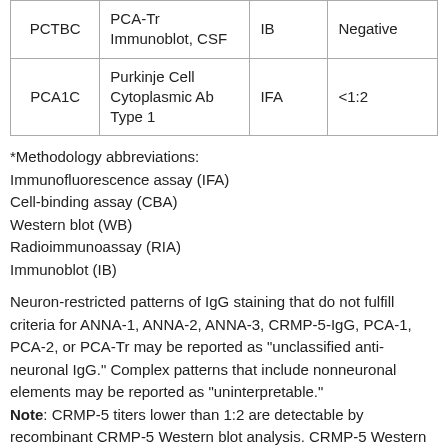| PCTBC | PCA-Tr Immunoblot, CSF | IB | Negative |
| PCA1C | Purkinje Cell Cytoplasmic Ab Type 1 | IFA | <1:2 |
*Methodology abbreviations: Immunofluorescence assay (IFA) Cell-binding assay (CBA) Western blot (WB) Radioimmunoassay (RIA) Immunoblot (IB)
Neuron-restricted patterns of IgG staining that do not fulfill criteria for ANNA-1, ANNA-2, ANNA-3, CRMP-5-IgG, PCA-1, PCA-2, or PCA-Tr may be reported as "unclassified anti-neuronal IgG." Complex patterns that include nonneuronal elements may be reported as "uninterpretable." Note: CRMP-5 titers lower than 1:2 are detectable by recombinant CRMP-5 Western blot analysis. CRMP-5 Western blot analysis will be done on request on stored